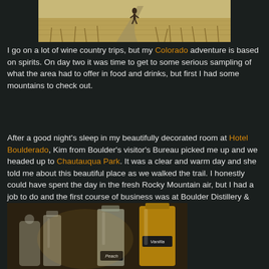[Figure (photo): A person walking on a dirt path through a golden field or prairie landscape under an overcast sky.]
I go on a lot of wine country trips, but my Colorado adventure is based on spirits. On day two it was time to get to some serious sampling of what the area had to offer in food and drinks, but first I had some mountains to check out.
After a good night's sleep in my beautifully decorated room at Hotel Boulderado, Kim from Boulder's visitor's Bureau picked me up and we headed up to Chautauqua Park. It was a clear and warm day and she told me about this beautiful place as we walked the trail. I honestly could have spent the day in the fresh Rocky Mountain air, but I had a job to do and the first course of business was at Boulder Distillery & Clear Spirit Company.
[Figure (photo): Glass bottles and decanters at a distillery, some labeled 'Peach' and 'Vanilla', containing various spirits.]